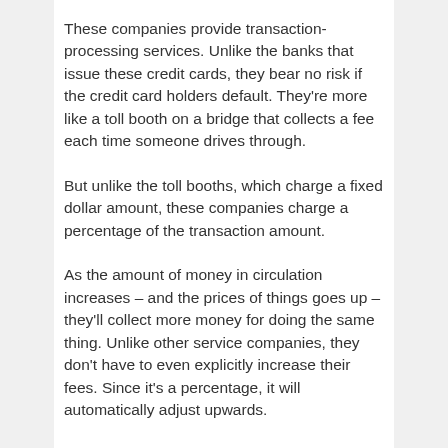These companies provide transaction-processing services. Unlike the banks that issue these credit cards, they bear no risk if the credit card holders default. They're more like a toll booth on a bridge that collects a fee each time someone drives through.
But unlike the toll booths, which charge a fixed dollar amount, these companies charge a percentage of the transaction amount.
As the amount of money in circulation increases – and the prices of things goes up – they'll collect more money for doing the same thing. Unlike other service companies, they don't have to even explicitly increase their fees. Since it's a percentage, it will automatically adjust upwards.